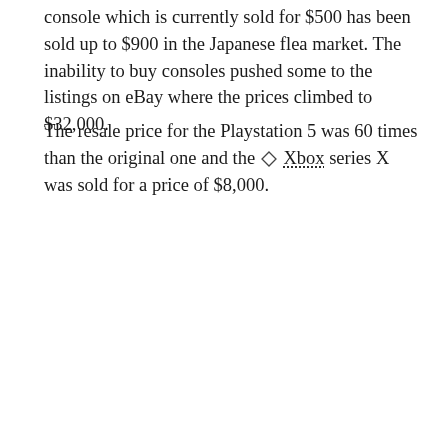console which is currently sold for $500 has been sold up to $900 in the Japanese flea market. The inability to buy consoles pushed some to the listings on eBay where the prices climbed to $32,000.
The resale price for the Playstation 5 was 60 times than the original one and the ◇ Xbox series X was sold for a price of $8,000.